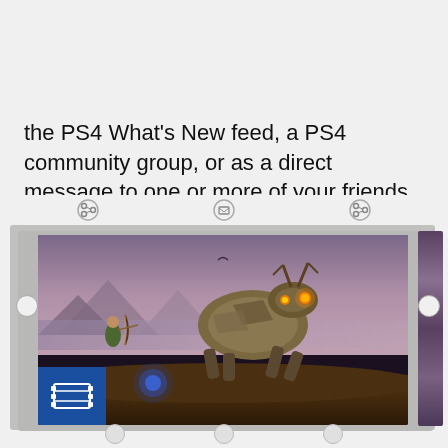the PS4 What's New feed, a PS4 community group, or as a direct message to one or more of your friends.
[Figure (screenshot): A PlayStation 4 gameplay capture of Horizon Zero Dawn showing a character fighting a large robotic creature. A blue video/film icon overlay appears in the bottom left corner. Multiple stacked content cards are visible behind the main image, suggesting a share feed interface.]